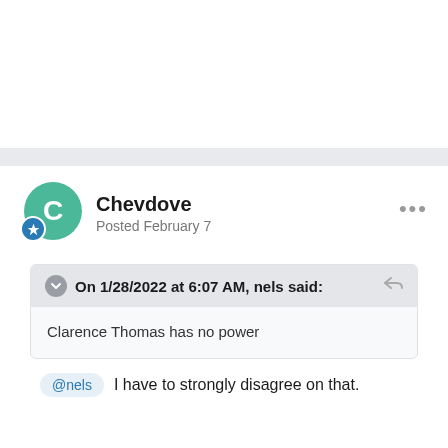Chevdove
Posted February 7
On 1/28/2022 at 6:07 AM, nels said:
Clarence Thomas has no power
@nels  I have to strongly disagree on that.